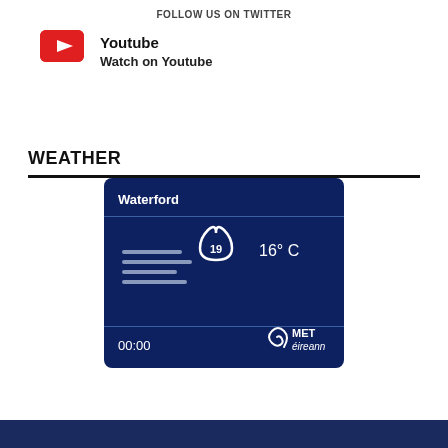FOLLOW US ON TWITTER
[Figure (logo): YouTube red logo icon]
Youtube
Watch on Youtube
WEATHER
[Figure (infographic): Met Eireann weather widget showing Waterford, wind and rain icon with number 19, temperature 16° C, time 00:00, MET éireann logo on dark navy background]